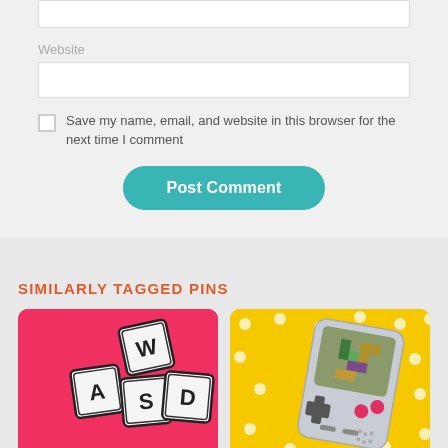Website
Save my name, email, and website in this browser for the next time I comment
Post Comment
SIMILARLY TAGGED PINS
[Figure (illustration): Pink background card with WASD keyboard keys illustration]
[Figure (illustration): Yellow polka dot background card with Game Boy handheld console illustration]